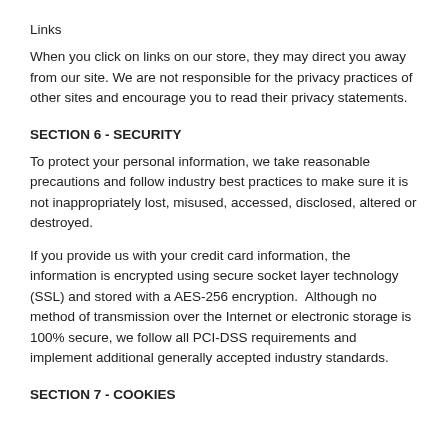Links
When you click on links on our store, they may direct you away from our site. We are not responsible for the privacy practices of other sites and encourage you to read their privacy statements.
SECTION 6 - SECURITY
To protect your personal information, we take reasonable precautions and follow industry best practices to make sure it is not inappropriately lost, misused, accessed, disclosed, altered or destroyed.
If you provide us with your credit card information, the information is encrypted using secure socket layer technology (SSL) and stored with a AES-256 encryption.  Although no method of transmission over the Internet or electronic storage is 100% secure, we follow all PCI-DSS requirements and implement additional generally accepted industry standards.
SECTION 7 - COOKIES